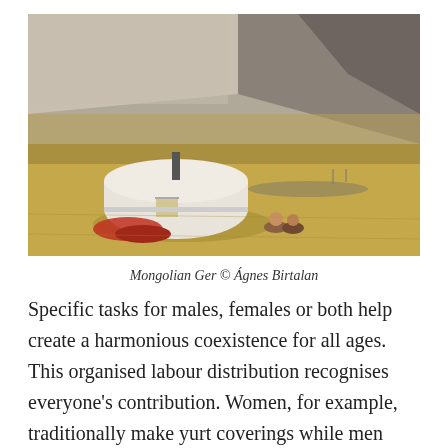[Figure (photo): A Mongolian Ger (yurt) in a vast steppe landscape with golden-brown grassland and rocky mountains in the background. Two people are sitting on the ground near the white yurt. A herd of animals is visible in the distance.]
Mongolian Ger © Ágnes Birtalan
Specific tasks for males, females or both help create a harmonious coexistence for all ages. This organised labour distribution recognises everyone's contribution. Women, for example, traditionally make yurt coverings while men construct its wooden elements. Other building